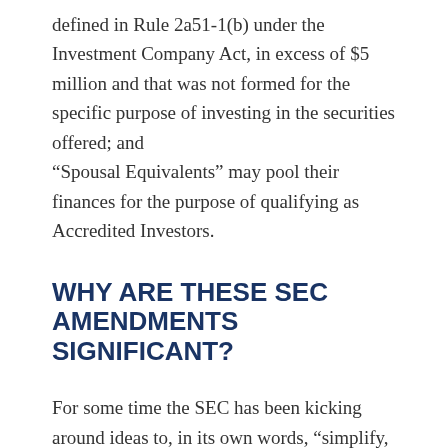defined in Rule 2a51-1(b) under the Investment Company Act, in excess of $5 million and that was not formed for the specific purpose of investing in the securities offered; and “Spousal Equivalents” may pool their finances for the purpose of qualifying as Accredited Investors.
WHY ARE THESE SEC AMENDMENTS SIGNIFICANT?
For some time the SEC has been kicking around ideas to, in its own words, “simplify, harmonize, and improve the exempt offering